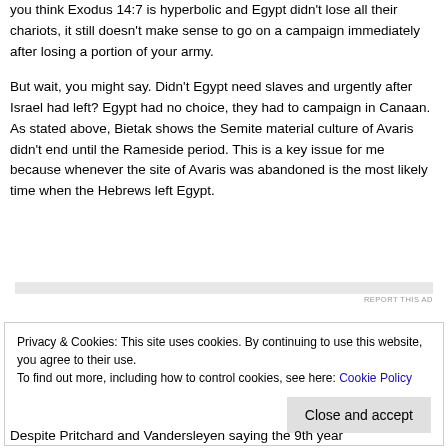you think Exodus 14:7 is hyperbolic and Egypt didn't lose all their chariots, it still doesn't make sense to go on a campaign immediately after losing a portion of your army.
But wait, you might say. Didn't Egypt need slaves and urgently after Israel had left? Egypt had no choice, they had to campaign in Canaan. As stated above, Bietak shows the Semite material culture of Avaris didn't end until the Rameside period. This is a key issue for me because whenever the site of Avaris was abandoned is the most likely time when the Hebrews left Egypt.
REPORT THIS AD
Privacy & Cookies: This site uses cookies. By continuing to use this website, you agree to their use.
To find out more, including how to control cookies, see here: Cookie Policy
Close and accept
Despite Pritchard and Vandersleyen saying the 9th year